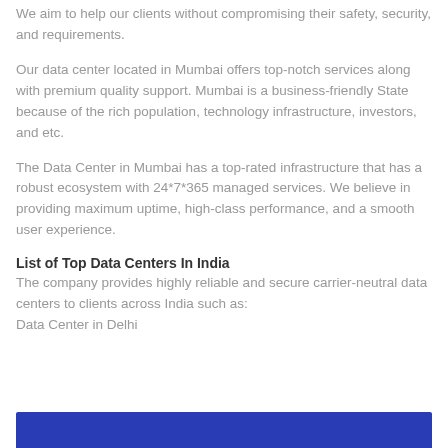We aim to help our clients without compromising their safety, security, and requirements.
Our data center located in Mumbai offers top-notch services along with premium quality support. Mumbai is a business-friendly State because of the rich population, technology infrastructure, investors, and etc.
The Data Center in Mumbai has a top-rated infrastructure that has a robust ecosystem with 24*7*365 managed services. We believe in providing maximum uptime, high-class performance, and a smooth user experience.
List of Top Data Centers In India
The company provides highly reliable and secure carrier-neutral data centers to clients across India such as: Data Center in Delhi
[Figure (other): Blue decorative bar at the bottom of the page]